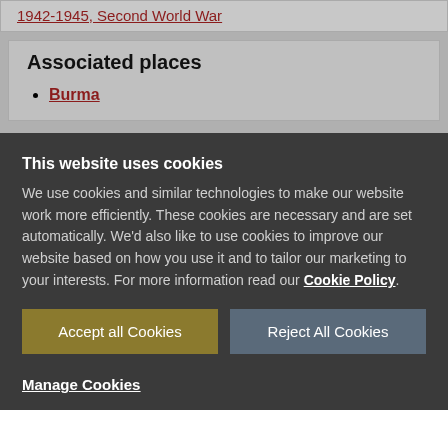1942-1945, Second World War
Associated places
Burma
This website uses cookies
We use cookies and similar technologies to make our website work more efficiently. These cookies are necessary and are set automatically. We'd also like to use cookies to improve our website based on how you use it and to tailor our marketing to your interests. For more information read our Cookie Policy.
Accept all Cookies
Reject All Cookies
Manage Cookies